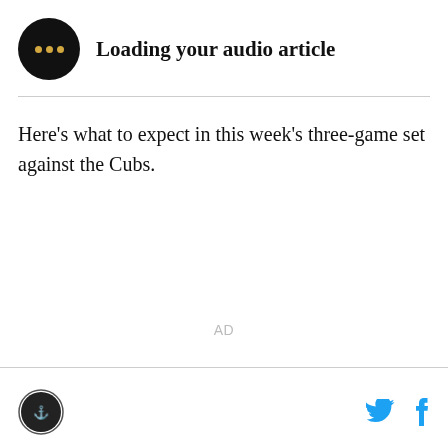[Figure (other): Audio article player icon — black circle with two gold/yellow dots, indicating loading state]
Loading your audio article
Here's what to expect in this week's three-game set against the Cubs.
AD
Site logo and social share icons (Twitter, Facebook)